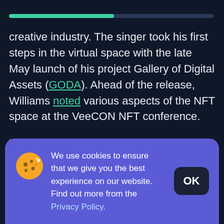creative industry. The singer took his first steps in the virtual space with the late May launch of his project Gallery of Digital Assets (GODA). Ahead of the release, Williams noted various aspects of the NFT space at the VeeCON NFT conference.
The musician also pointed out the recent crypto market slump and its effect on NFT marketplaces. According to reports, a decline in investor interest resulted in the loss of over $3B in NFT sales within a month. While the NFT industry recorded a monthly volume of $7.20 billion in
We use cookies to ensure that we give you the best experience on our website. Find out more from the Privacy Policy.